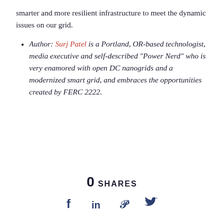smarter and more resilient infrastructure to meet the dynamic issues on our grid.
Author: Surj Patel is a Portland, OR-based technologist, media executive and self-described “Power Nerd” who is very enamored with open DC nanogrids and a modernized smart grid, and embraces the opportunities created by FERC 2222.
0 SHARES
[Figure (infographic): Social sharing icons: Facebook (f), LinkedIn (in), Pinterest (p), Twitter (bird icon)]